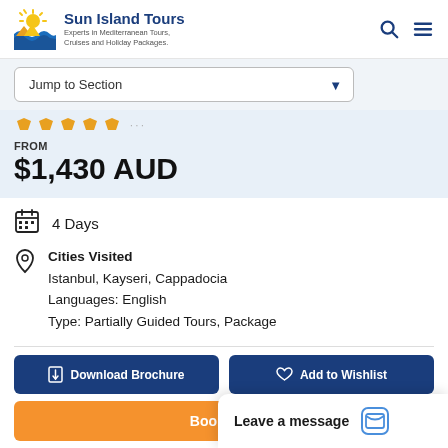[Figure (logo): Sun Island Tours logo with sun and waves graphic]
Sun Island Tours
Experts in Mediterranean Tours, Cruises and Holiday Packages.
Jump to Section
[Figure (other): Star rating icons (5 stars, partially filled)]
FROM
$1,430 AUD
4 Days
Cities Visited
Istanbul, Kayseri, Cappadocia
Languages: English
Type: Partially Guided Tours, Package
Download Brochure
Add to Wishlist
Book Now
Or contact your loc
Leave a message